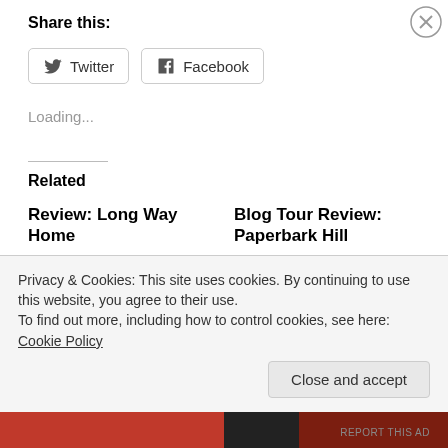Share this:
Twitter   Facebook
Loading...
Related
Review: Long Way Home
November 2, 2019
In "Contemporary Fiction"
Blog Tour Review: Paperbark Hill
June 15, 2022
In "review"
Advertisements
Privacy & Cookies: This site uses cookies. By continuing to use this website, you agree to their use.
To find out more, including how to control cookies, see here: Cookie Policy
Close and accept